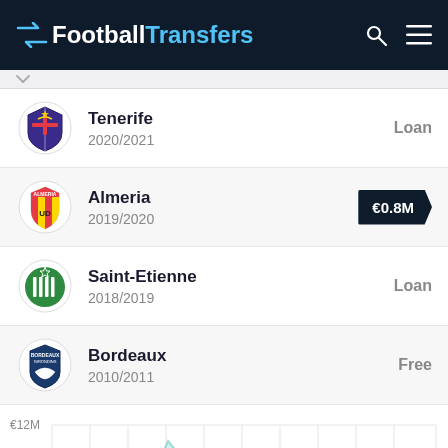FootballTransfers
Tenerife 2020/2021 Loan
Almeria 2019/2020 €0.8M
Saint-Etienne 2018/2019 Loan
Bordeaux 2010/2011 Free
[Figure (area-chart): Area chart showing transfer value history with peak around €10M, y-axis labels €8M, €10M, €12M]